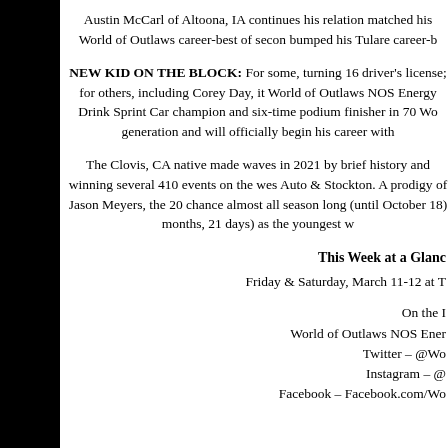Austin McCarl of Altoona, IA continues his relation matched his World of Outlaws career-best of secon bumped his Tulare career-b
NEW KID ON THE BLOCK: For some, turning 16 driver's license; for others, including Corey Day, it World of Outlaws NOS Energy Drink Sprint Car champion and six-time podium finisher in 70 Wo generation and will officially begin his career with
The Clovis, CA native made waves in 2021 by brief history and winning several 410 events on the wes Auto & Stockton. A prodigy of Jason Meyers, the 20 chance almost all season long (until October 18) months, 21 days) as the youngest w
This Week at a Glanc
Friday & Saturday, March 11-12 at T
On the I World of Outlaws NOS Ener Twitter – @Wo Instagram – @ Facebook – Facebook.com/Wo